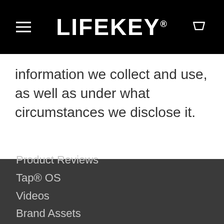LIFEKEY®
information we collect and use, as well as under what circumstances we disclose it.
Product Reviews
Tap® OS
Videos
Brand Assets